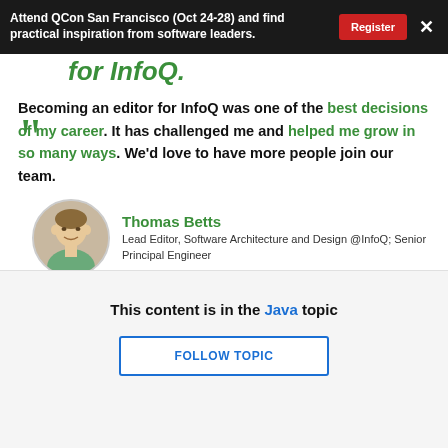Attend QCon San Francisco (Oct 24-28) and find practical inspiration from software leaders.
for InfoQ.
Becoming an editor for InfoQ was one of the best decisions of my career. It has challenged me and helped me grow in so many ways. We'd love to have more people join our team.
Thomas Betts
Lead Editor, Software Architecture and Design @InfoQ; Senior Principal Engineer
Write for InfoQ
This content is in the Java topic
FOLLOW TOPIC